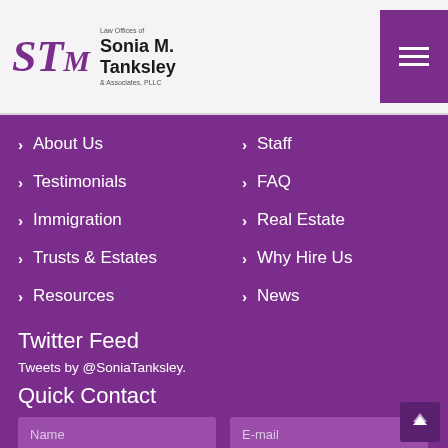[Figure (logo): Law Offices of Sonia M. Tanksley & Associates PLLC logo with stylized STM monogram in purple]
About Us
Testimonials
Immigration
Trusts & Estates
Resources
Events/Media
Staff
FAQ
Real Estate
Why Hire Us
News
Twitter Feed
Tweets by @SoniaTanksley.
Quick Contact